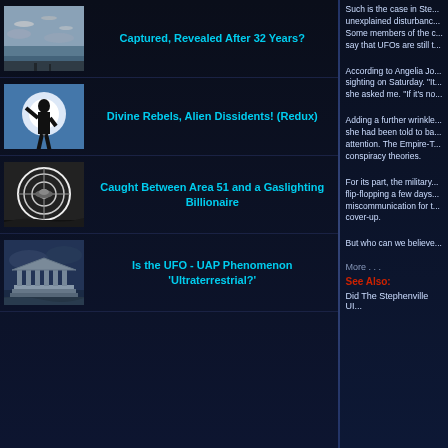[Figure (photo): Sky with UFO shapes visible]
Captured, Revealed After 32 Years?
[Figure (photo): Silhouette of figure against bright light]
Divine Rebels, Alien Dissidents! (Redux)
[Figure (photo): Black and white image of UFO/disc shape]
Caught Between Area 51 and a Gaslighting Billionaire
[Figure (photo): Greek temple ruins with dark sky]
Is the UFO - UAP Phenomenon 'Ultraterrestrial?'
Such is the case in Ste... unexplained disturbanc... Some members of the c... say that UFOs are still t...
According to Angelia Jo... sighting on Saturday. "It... she asked me. "If it's no...
Adding a further wrinkle... she had been told to ba... attention. The Empire-T... conspiracy theories.
For its part, the military... flip-flopping a few days... miscommunication for t... cover-up.
But who can we believe...
More . . .
See Also:
Did The Stephenville UI...